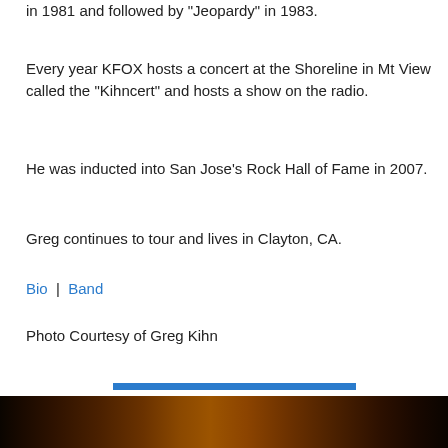in 1981 and followed by "Jeopardy" in 1983.
Every year KFOX hosts a concert at the Shoreline in Mt View called the "Kihncert" and hosts a show on the radio.
He was inducted into San Jose's Rock Hall of Fame in 2007.
Greg continues to tour and lives in Clayton, CA.
Bio | Band
Photo Courtesy of Greg Kihn
[Figure (photo): A horizontal blue bar separator followed by a dark warm-toned photo band at the bottom of the page]